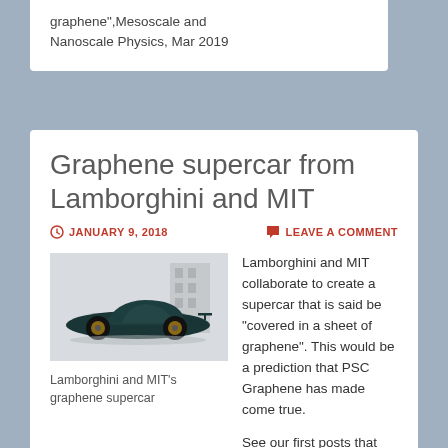graphene”,Mesoscale and Nanoscale Physics, Mar 2019
Graphene supercar from Lamborghini and MIT
JANUARY 9, 2018
LEAVE A COMMENT
[Figure (illustration): Dark teal futuristic Lamborghini supercar concept vehicle viewed from the side against a light building background]
Lamborghini and MIT’s graphene supercar
Lamborghini and MIT collaborate to create a supercar that is said be “covered in a sheet of graphene”. This would be a prediction that PSC Graphene has made come true.
See our first posts that prompted cars to be made using graphene: